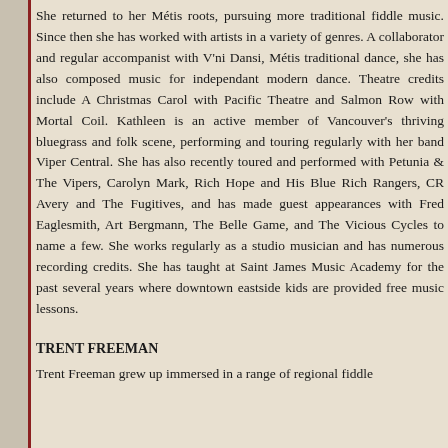She returned to her Métis roots, pursuing more traditional fiddle music. Since then she has worked with artists in a variety of genres. A collaborator and regular accompanist with V'ni Dansi, Métis traditional dance, she has also composed music for independant modern dance. Theatre credits include A Christmas Carol with Pacific Theatre and Salmon Row with Mortal Coil. Kathleen is an active member of Vancouver's thriving bluegrass and folk scene, performing and touring regularly with her band Viper Central. She has also recently toured and performed with Petunia & The Vipers, Carolyn Mark, Rich Hope and His Blue Rich Rangers, CR Avery and The Fugitives, and has made guest appearances with Fred Eaglesmith, Art Bergmann, The Belle Game, and The Vicious Cycles to name a few. She works regularly as a studio musician and has numerous recording credits. She has taught at Saint James Music Academy for the past several years where downtown eastside kids are provided free music lessons.
TRENT FREEMAN
Trent Freeman grew up immersed in a range of regional fiddle